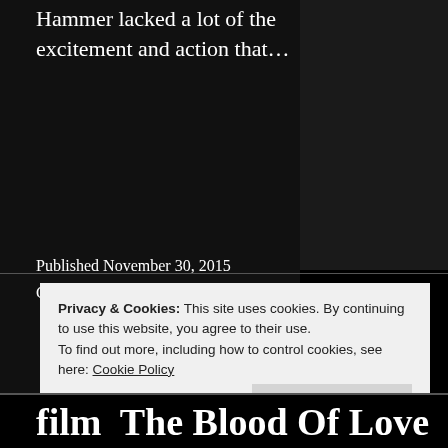Hammer lacked a lot of the excitement and action that…
Published November 30, 2015
Categorized as Uncategorized
Privacy & Cookies: This site uses cookies. By continuing to use this website, you agree to their use.
To find out more, including how to control cookies, see here: Cookie Policy
Close and accept
film  The Blood Of Love